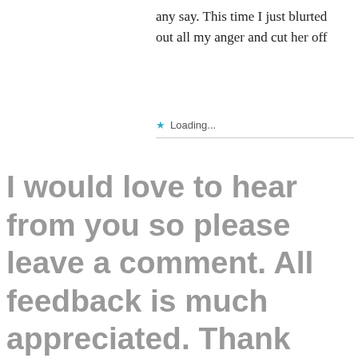any say. This time I just blurted out all my anger and cut her off
Loading...
I would love to hear from you so please leave a comment. All feedback is much appreciated. Thank you. Erin